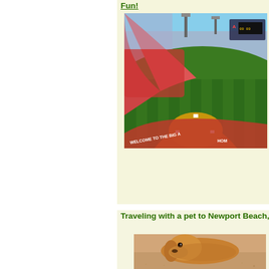Fun!
[Figure (photo): Aerial view of a baseball stadium (Angel Stadium) packed with spectators during a game, showing the green diamond field and red warning track. Text on field reads 'WELCOME TO THE BIG A HOME'.]
Traveling with a pet to Newport Beach,
[Figure (photo): Close-up photo of a golden/tan dog on a beach, showing the dog's head and sandy texture.]